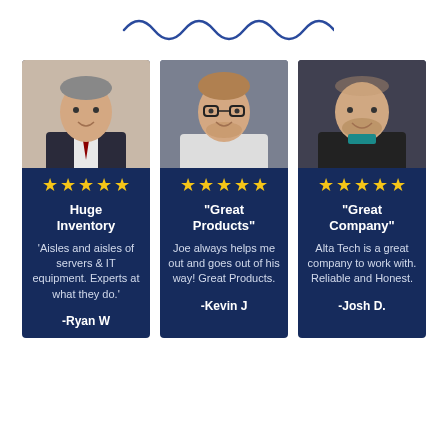[Figure (illustration): Decorative wavy line divider in dark blue]
★★★★★
Huge Inventory
'Aisles and aisles of servers & IT equipment. Experts at what they do.'
-Ryan W
★★★★★
"Great Products"
Joe always helps me out and goes out of his way! Great Products.
-Kevin J
★★★★★
"Great Company"
Alta Tech is a great company to work with. Reliable and Honest.
-Josh D.